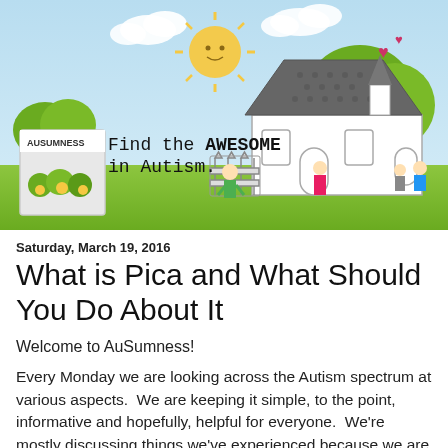[Figure (illustration): Colorful illustrated banner with sky background, cartoon sun, clouds, trees, a house, and cartoon children figures. Text reads 'Find the AWESOME in Autism.' with a small inset labeled 'AUSUMNESS'.]
Saturday, March 19, 2016
What is Pica and What Should You Do About It
Welcome to AuSumness!
Every Monday we are looking across the Autism spectrum at various aspects.  We are keeping it simple, to the point, informative and hopefully, helpful for everyone.  We're mostly discussing things we've experienced because we are not professionals per say.  However, we've got over 10 years